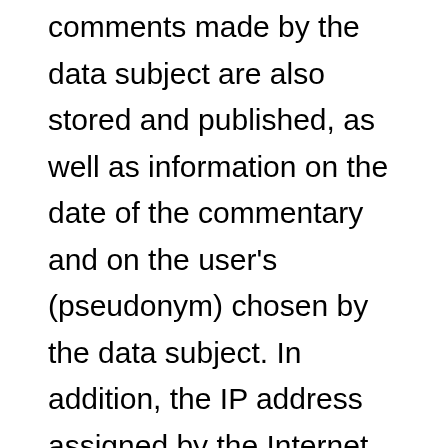comments made by the data subject are also stored and published, as well as information on the date of the commentary and on the user's (pseudonym) chosen by the data subject. In addition, the IP address assigned by the Internet service provider (ISP) to the data subject is also logged. This storage of the IP address takes place for security reasons, and in case the data subject violates the rights of third parties, or posts illegal content through a given comment. The storage of these personal data is, therefore, in the own interest of the